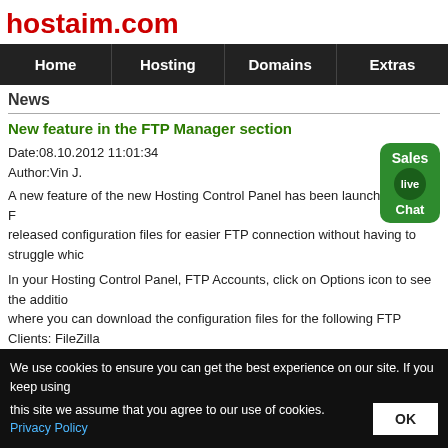hostaim.com
[Figure (other): Navigation bar with menu items: Home, Hosting, Domains, Extras]
News
New feature in the FTP Manager section
Date:08.10.2012 11:01:34
Author:Vin J.
A new feature of the new Hosting Control Panel has been launched. In the F... released configuration files for easier FTP connection without having to struggle whic...
In your Hosting Control Panel, FTP Accounts, click on Options icon to see the additio... where you can download the configuration files for the following FTP Clients: FileZilla...
Here is a quick How to download and use the Configuration File :
- Expand the Options menu for the FTP-Account you want to download a Configurati...
We use cookies to ensure you can get the best experience on our site. If you keep using this site we assume that you agree to our use of cookies. Privacy Policy OK